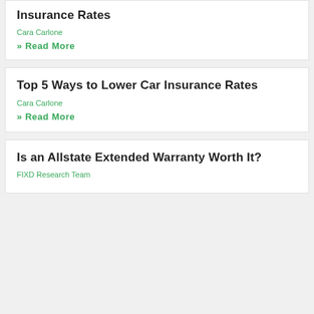Insurance Rates
Cara Carlone
» Read More
Top 5 Ways to Lower Car Insurance Rates
Cara Carlone
» Read More
Is an Allstate Extended Warranty Worth It?
FIXD Research Team